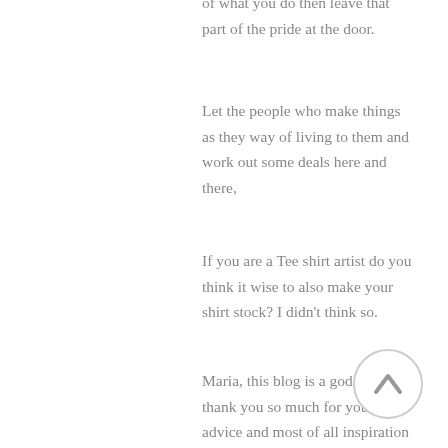of what you do then leave that part of the pride at the door.
Let the people who make things as they way of living to them and work out some deals here and there,
If you are a Tee shirt artist do you think it wise to also make your shirt stock? I didn't think so.
Maria, this blog is a god send, thank you so much for your tips, advice and most of all inspiration to
[Figure (other): A circular scroll-to-top button with an upward arrow icon, gray border on white background]